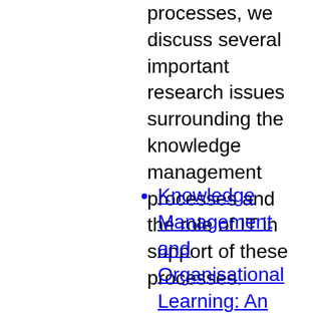processes, we discuss several important research issues surrounding the knowledge management processes and the role of IT in support of these processes.
Knowledge Management and Organisational Learning: An International Development Perspective An Annotated Bibliography